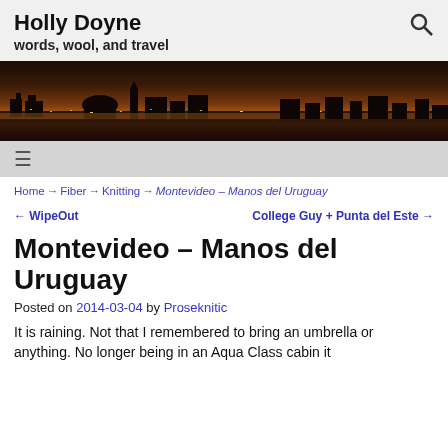Holly Doyne
words, wool, and travel
[Figure (photo): Nighttime cityscape panorama showing illuminated buildings and skyline at dusk with warm orange and amber lights]
☰ (hamburger menu)
Home → Fiber → Knitting → Montevideo – Manos del Uruguay
← WipeOut    College Guy + Punta del Este →
Montevideo – Manos del Uruguay
Posted on 2014-03-04 by Proseknitic
It is raining. Not that I remembered to bring an umbrella or anything. No longer being in an Aqua Class cabin it